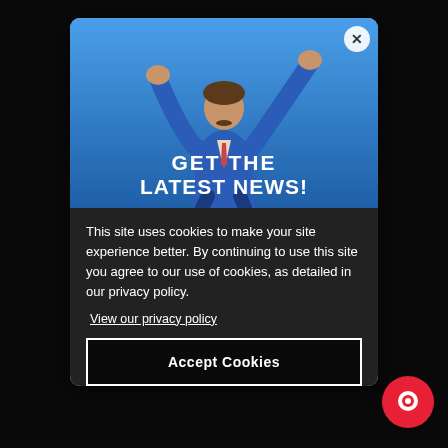[Figure (screenshot): Modal popup overlay on a dark website background. The modal contains a photo of a man in a blue suit celebrating with arms raised against a blue sky background, with the text 'GET THE LATEST NEWS!' overlaid. Below the image is a cookie consent notice with body text and an Accept Cookies button. A red chat bubble icon appears in the bottom right corner.]
This site uses cookies to make your site experience better. By continuing to use this site you agree to our use of cookies, as detailed in our privacy policy.
View our privacy policy
Accept Cookies